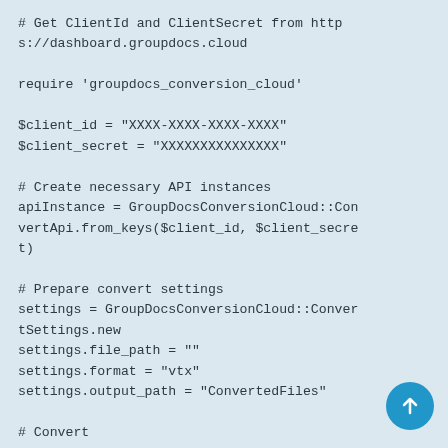# Get ClientId and ClientSecret from https://dashboard.groupdocs.cloud

require 'groupdocs_conversion_cloud'

$client_id = "XXXX-XXXX-XXXX-XXXX"
$client_secret = "XXXXXXXXXXXXXXX"

# Create necessary API instances
apiInstance = GroupDocsConversionCloud::ConvertApi.from_keys($client_id, $client_secret)

# Prepare convert settings
settings = GroupDocsConversionCloud::ConvertSettings.new
settings.file_path = ""
settings.format = "vtx"
settings.output_path = "ConvertedFiles"

# Convert
result = apiInstance.convert_document(GroupDocsConversionCloud::ConvertDocumentRequest.new(settings))